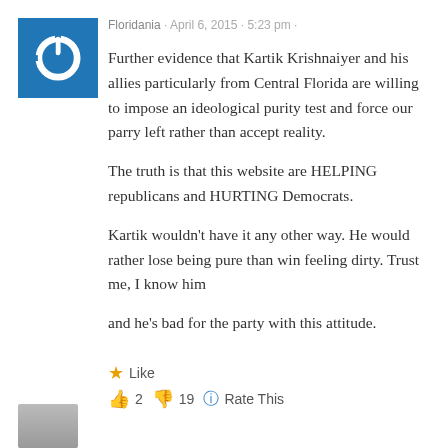Floridania · April 6, 2015 · 5:23 pm ·
Further evidence that Kartik Krishnaiyer and his allies particularly from Central Florida are willing to impose an ideological purity test and force our parry left rather than accept reality.

The truth is that this website are HELPING republicans and HURTING Democrats.

Kartik wouldn't have it any other way. He would rather lose being pure than win feeling dirty. Trust me, I know him and he's bad for the party with this attitude.
★ Like
👍 2  👎 19  ℹ️ Rate This